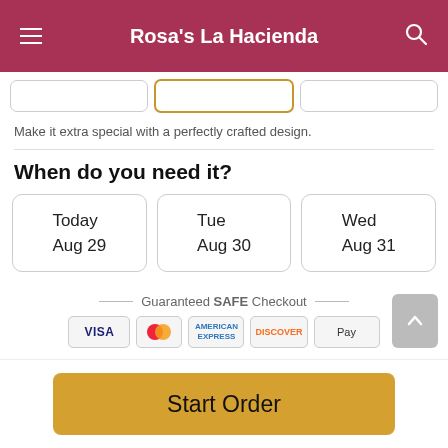Rosa's La Hacienda
Make it extra special with a perfectly crafted design.
When do you need it?
Today
Aug 29
Tue
Aug 30
Wed
Aug 31
Guaranteed SAFE Checkout
[Figure (other): Payment method icons: VISA, Mastercard, American Express, Discover, Apple Pay]
Start Order